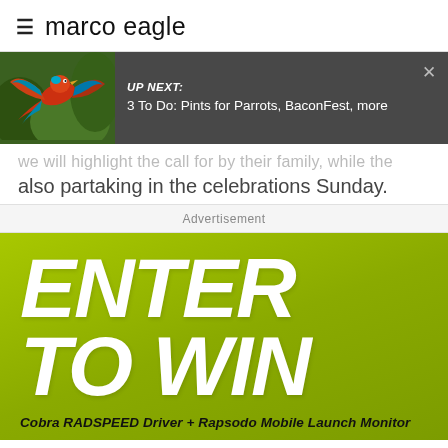marco eagle
[Figure (screenshot): Video next overlay showing a colorful parrot/bird in flight against green foliage background, with dark overlay panel showing UP NEXT: 3 To Do: Pints for Parrots, BaconFest, more]
also partaking in the celebrations Sunday.
Advertisement
[Figure (infographic): Green advertisement banner with large white bold italic text ENTER TO WIN and subtext Cobra RADSPEED Driver + Rapsodo Mobile Launch Monitor]